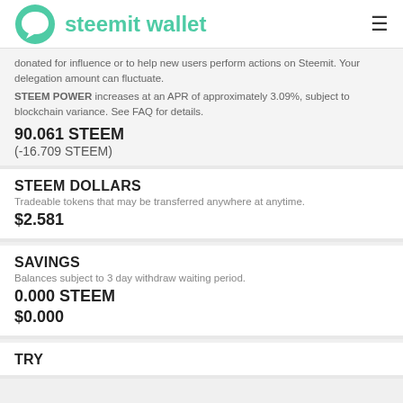steemit wallet
donated for influence or to help new users perform actions on Steemit. Your delegation amount can fluctuate.
STEEM POWER increases at an APR of approximately 3.09%, subject to blockchain variance. See FAQ for details.
90.061 STEEM
(-16.709 STEEM)
STEEM DOLLARS
Tradeable tokens that may be transferred anywhere at anytime.
$2.581
SAVINGS
Balances subject to 3 day withdraw waiting period.
0.000 STEEM
$0.000
TRY